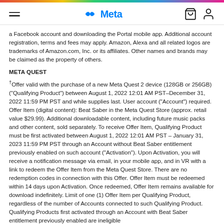Meta
a Facebook account and downloading the Portal mobile app. Additional account registration, terms and fees may apply. Amazon, Alexa and all related logos are trademarks of Amazon.com, Inc. or its affiliates. Other names and brands may be claimed as the property of others.
META QUEST
†Offer valid with the purchase of a new Meta Quest 2 device (128GB or 256GB) ("Qualifying Product") between August 1, 2022 12:01 AM PST–December 31, 2022 11:59 PM PST and while supplies last. User account ("Account") required. Offer Item (digital content): Beat Saber in the Meta Quest Store (approx. retail value $29.99). Additional downloadable content, including future music packs and other content, sold separately. To receive Offer Item, Qualifying Product must be first activated between August 1, 2022 12:01 AM PST – January 31, 2023 11:59 PM PST through an Account without Beat Saber entitlement previously enabled on such account ("Activation"). Upon Activation, you will receive a notification message via email, in your mobile app, and in VR with a link to redeem the Offer Item from the Meta Quest Store. There are no redemption codes in connection with this Offer. Offer Item must be redeemed within 14 days upon Activation. Once redeemed, Offer Item remains available for download indefinitely. Limit of one (1) Offer Item per Qualifying Product, regardless of the number of Accounts connected to such Qualifying Product. Qualifying Products first activated through an Account with Beat Saber entitlement previously enabled are ineligible